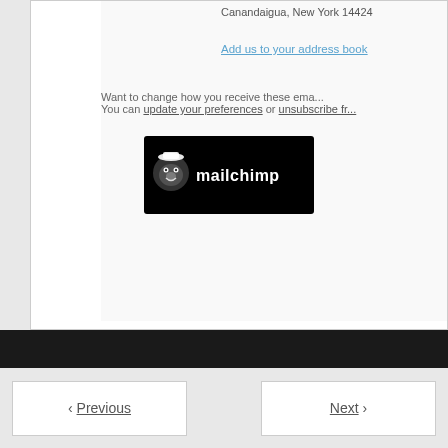Canandaigua, New York 14424
Add us to your address book
Want to change how you receive these ema... You can update your preferences or unsubscribe fr...
[Figure (logo): Mailchimp logo — white chimp icon and 'mailchimp' text on black background]
< Previous   Next >